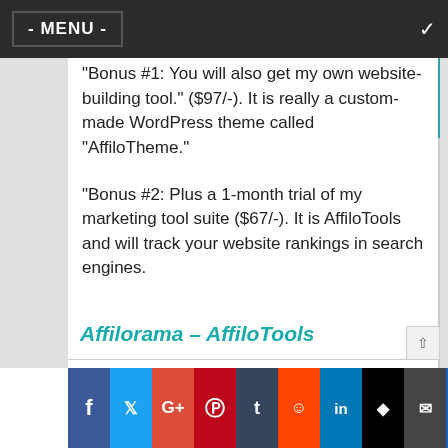- MENU -
“Bonus #1: You will also get my own website-building tool.” ($97/-). It is really a custom-made WordPress theme called “AffiloTheme.”
“Bonus #2: Plus a 1-month trial of my marketing tool suite ($67/-). It is AffiloTools and will track your website rankings in search engines.
Affilorama – AffiloTools